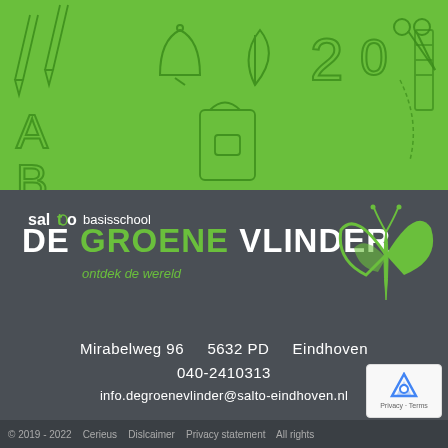[Figure (illustration): Green banner header with school-related doodle icons (pencils, bell, leaf, calculator, scissors, letters A B, bags) in darker green outline on bright green background]
[Figure (logo): Salto basisschool De Groene Vlinder logo with butterfly icon in green on dark grey background, tagline 'ontdek de wereld']
Mirabelweg 96    5632 PD    Eindhoven
040-2410313
info.degroenevlinder@salto-eindhoven.nl
© 2019 - 2022    Cerieus    Dislcaimer    Privacy statement    All rights